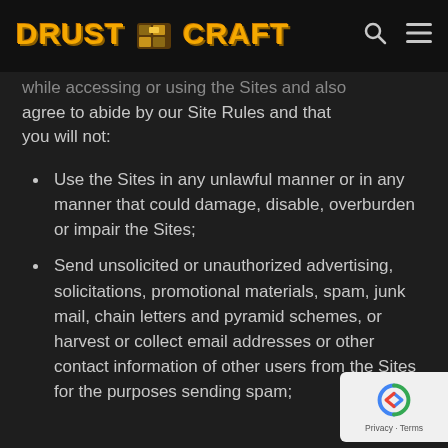DRUSTCRAFT
while accessing or using the Sites and also agree to abide by our Site Rules and that you will not:
Use the Sites in any unlawful manner or in any manner that could damage, disable, overburden or impair the Sites;
Send unsolicited or unauthorized advertising, solicitations, promotional materials, spam, junk mail, chain letters and pyramid schemes, or harvest or collect email addresses or other contact information of other users from the Sites for the purposes sending spam;